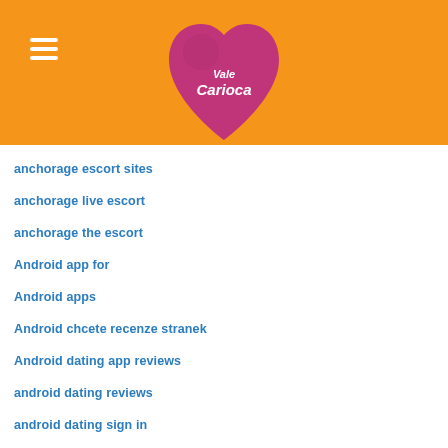[Figure (logo): Vale Carioca logo — pink heart shape with white cursive text 'Vale Carioca' on an orange header background with a hamburger menu icon]
anchorage escort sites
anchorage live escort
anchorage the escort
Android app for
Android apps
Android chcete recenze stranek
Android dating app reviews
android dating reviews
android dating sign in
Android Hookup Apps review
Android Hookup Apps reviews
android hookup apps subscription price
Android lt buono
Android reviews